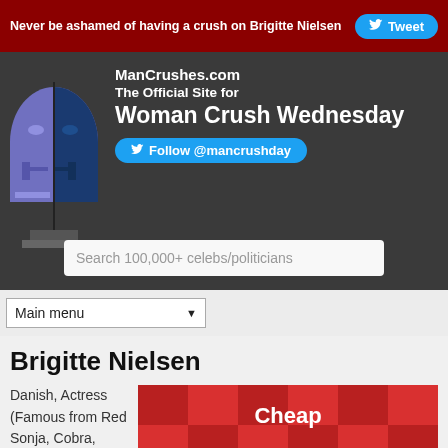Never be ashamed of having a crush on Brigitte Nielsen  Tweet
[Figure (logo): ManCrushes.com stylized logo with a split blue/purple face silhouette on dark background]
ManCrushes.com
The Official Site for
Woman Crush Wednesday
Follow @mancrushday
Search 100,000+ celebs/politicians
Main menu
Brigitte Nielsen
Danish, Actress (Famous from Red Sonja, Cobra, Rocky IV, Beverly Hills Cop II)
[Figure (advertisement): Red checkered advertisement reading: Cheap YouTube Video Views]